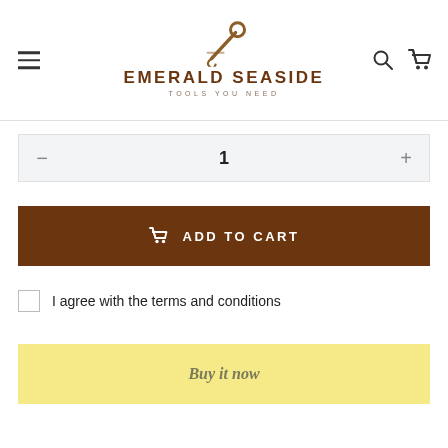[Figure (logo): Emerald Seaside Tools logo with stylized tool icon above the brand name]
1
ADD TO CART
I agree with the terms and conditions
Buy it now